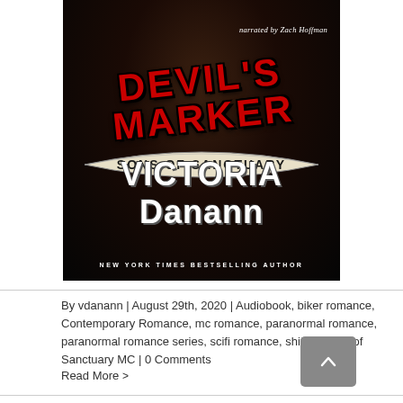[Figure (illustration): Book cover for 'Devil's Marker' by Victoria Danann, Sons of Sanctuary MC series. Dark cover with tattooed man in leather jacket. Red grunge lettering 'Devil's Marker', banner reading 'Sons of Sanctuary', author name 'Victoria Danann' in large white Gothic font, 'New York Times Bestselling Author' at bottom. Narrated by Zach Hoffman noted in top right.]
By vdanann | August 29th, 2020 | Audiobook, biker romance, Contemporary Romance, mc romance, paranormal romance, paranormal romance series, scifi romance, shifter, Sons of Sanctuary MC | 0 Comments
Read More >